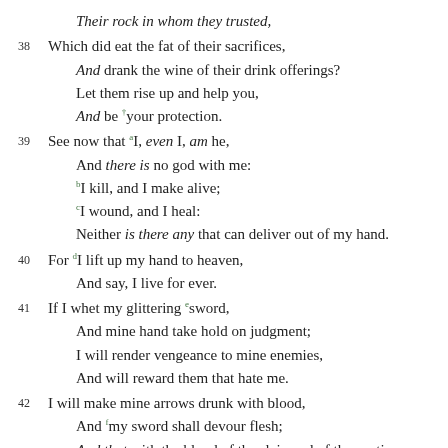Their rock in whom they trusted,
38 Which did eat the fat of their sacrifices,
And drank the wine of their drink offerings?
Let them rise up and help you,
And be †your protection.
39 See now that aI, even I, am he,
And there is no god with me:
bI kill, and I make alive;
cI wound, and I heal:
Neither is there any that can deliver out of my hand.
40 For dI lift up my hand to heaven,
And say, I live for ever.
41 If I whet my glittering esword,
And mine hand take hold on judgment;
I will render vengeance to mine enemies,
And will reward them that hate me.
42 I will make mine arrows drunk with blood,
And fmy sword shall devour flesh;
And that with the blood of the slain and of the captives,